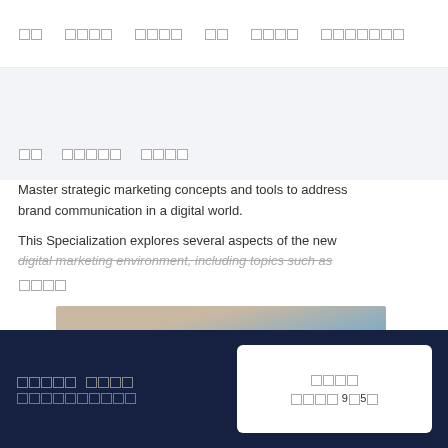홈  둘러보기  로그인  가입  무료로 시작하기
디지털 마케팅 전문가
Master strategic marketing concepts and tools to address brand communication in a digital world.
This Specialization explores several aspects of the new digital marketing environment, including topics such as
더보기
[Figure (photo): Person looking down at work, partial face visible, wearing plaid shirt, blurred background]
무료로 시작하기
무료로 등록하기
등록
평균 9개5주